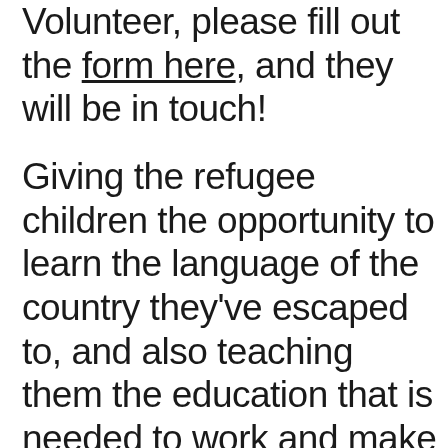Volunteer, please fill out the form here, and they will be in touch!
Giving the refugee children the opportunity to learn the language of the country they've escaped to, and also teaching them the education that is needed to work and make a living is one of the best ways to donate.